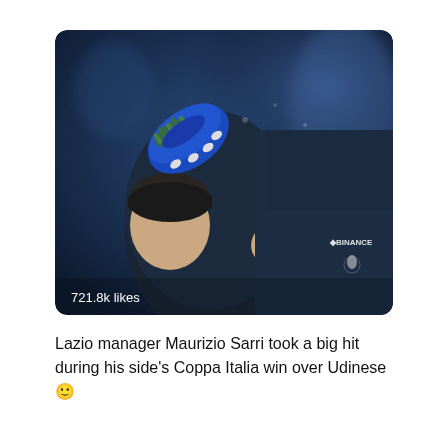[Figure (photo): Close-up photo of Lazio manager Maurizio Sarri being hit in the face by a football boot/cleat (blue Nike cleat with grass on it) during a celebration. People wearing dark navy Lazio jackets with Binance sponsor logos visible. Text overlay reads '721.8k likes'.]
Lazio manager Maurizio Sarri took a big hit during his side's Coppa Italia win over Udinese 😃